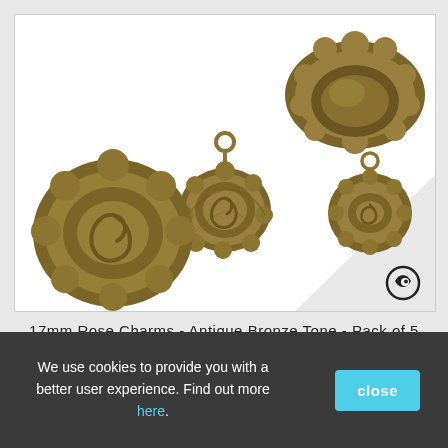[Figure (photo): Product photo showing four antique bronze tone rose charms on a white background. The charms are flower-shaped with spiral rose petal details and small rings at the top for attachment. A small crescent/eye logo is visible in the bottom-right corner of the image.]
17mm Rose Charms - Antique Bronze Tone - Pack of 5
We use cookies to provide you with a better user experience. Find out more here.